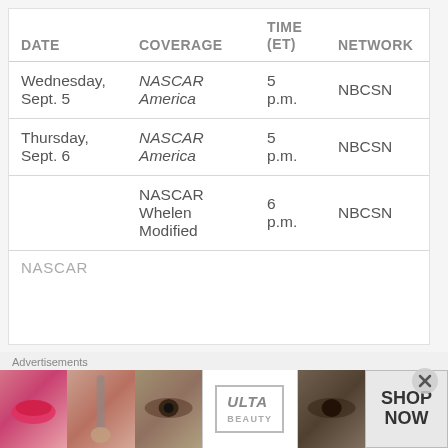| DATE | COVERAGE | TIME (ET) | NETWORK |
| --- | --- | --- | --- |
| Wednesday, Sept. 5 | NASCAR America | 5 p.m. | NBCSN |
| Thursday, Sept. 6 | NASCAR America | 5 p.m. | NBCSN |
|  | NASCAR Whelen Modified | 6 p.m. | NBCSN |
|  | NASCAR... |  |  |
Advertisements
[Figure (photo): Advertisement banner with makeup/beauty images and ULTA Beauty logo with SHOP NOW button]